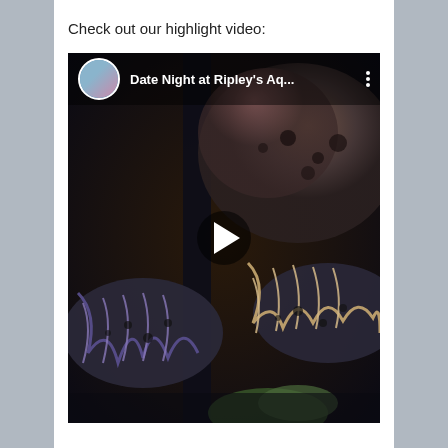Check out our highlight video:
[Figure (screenshot): Embedded YouTube-style video thumbnail showing a lionfish in a dark aquarium environment. The video has a top overlay bar with a circular avatar (person with pink flower), the title 'Date Night at Ripley's Aq...' in white text, and a three-dot menu icon on the right. A white play button triangle is centered over the video thumbnail.]